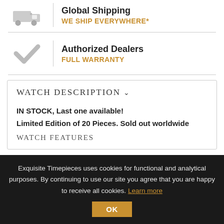[Figure (illustration): Gray truck/delivery icon]
Global Shipping
WE SHIP EVERYWHERE*
[Figure (illustration): Gray checkmark icon]
Authorized Dealers
FULL WARRANTY
WATCH DESCRIPTION
IN STOCK, Last one available!
Limited Edition of 20 Pieces. Sold out worldwide
WATCH FEATURES
Exquisite Timepieces uses cookies for functional and analytical purposes. By continuing to use our site you agree that you are happy to receive all cookies. Learn more